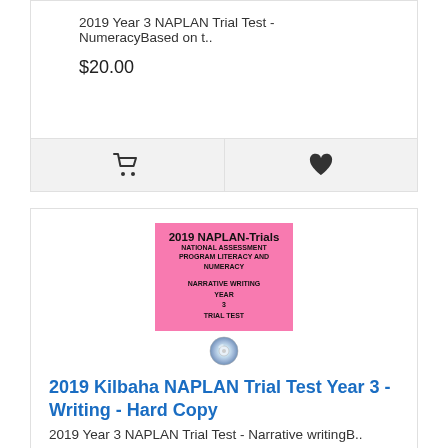2019 Year 3 NAPLAN Trial Test - NumeracyBased on t..
$20.00
[Figure (other): Shopping cart icon button]
[Figure (other): Heart/wishlist icon button]
[Figure (illustration): Pink NAPLAN-Trials book cover showing 2019 NAPLAN-Trials National Assessment Program Literacy and Numeracy Narrative Writing Year 3 Trial Test, with CD icon below]
2019 Kilbaha NAPLAN Trial Test Year 3 - Writing - Hard Copy
2019 Year 3 NAPLAN Trial Test - Narrative writingB..
$20.00